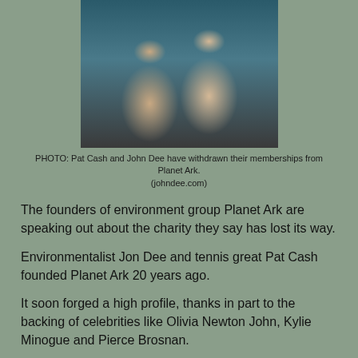[Figure (photo): Photo of two men smiling, Pat Cash and John Dee, standing together outdoors]
PHOTO: Pat Cash and John Dee have withdrawn their memberships from Planet Ark. (johndee.com)
The founders of environment group Planet Ark are speaking out about the charity they say has lost its way.
Environmentalist Jon Dee and tennis great Pat Cash founded Planet Ark 20 years ago.
It soon forged a high profile, thanks in part to the backing of celebrities like Olivia Newton John, Kylie Minogue and Pierce Brosnan.
But times have been tough for Planet Ark lately.
It has made substantial losses for three years running, sold